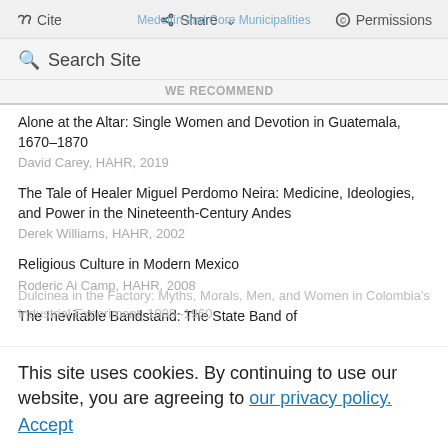Medellín and Core Municipalities | Cite | Share | Permissions
Search Site
WE RECOMMEND
Alone at the Altar: Single Women and Devotion in Guatemala, 1670–1870
David Carey, HAHR, 2019
The Tale of Healer Miguel Perdomo Neira: Medicine, Ideologies, and Power in the Nineteenth-Century Andes
Derek Williams, HAHR, 2002
Religious Culture in Modern Mexico
Roderic Ai Camp, HAHR, 2008
The Inevitable Bandstand: The State Band of Oaxaca and the Politics of Sound
Dulcinea in the Factory: Myths, Morals, Men, and Women in Colombia's Industrial Experiment, 1905–1960
This site uses cookies. By continuing to use our website, you are agreeing to our privacy policy.
Accept